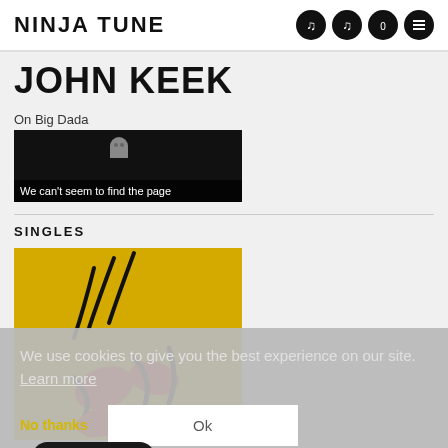NINJA TUNE
JOHN KEEK
On Big Dada
[Figure (screenshot): Embedded video player with error overlay showing 'We can't seem to find the page', black background]
SINGLES
[Figure (illustration): Yellow background album cover artwork with abstract black and red shapes (bird/animal figures)]
We use cookies to give you the best experience on our site. Learn more
No thanks
Ok
Cookie Policy